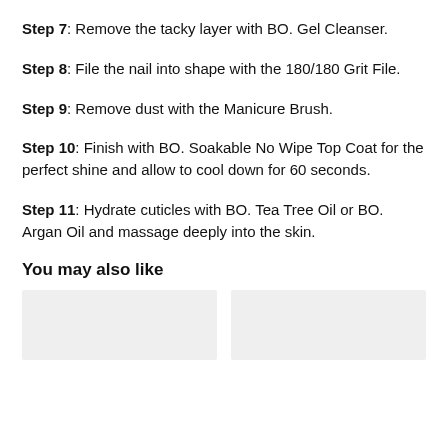Step 7: Remove the tacky layer with BO. Gel Cleanser.
Step 8: File the nail into shape with the 180/180 Grit File.
Step 9: Remove dust with the Manicure Brush.
Step 10: Finish with BO. Soakable No Wipe Top Coat for the perfect shine and allow to cool down for 60 seconds.
Step 11: Hydrate cuticles with BO. Tea Tree Oil or BO. Argan Oil and massage deeply into the skin.
You may also like
[Figure (photo): Two product image placeholders side by side]